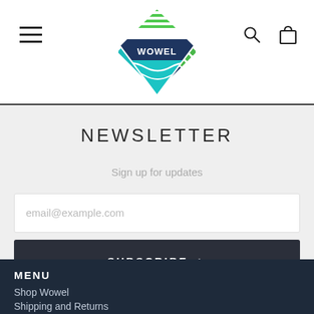[Figure (logo): Wowel logo: diamond/rhombus shaped badge with green horizontal lines on top half and teal wave on bottom half, with 'WOWEL' text in white on dark blue center band]
NEWSLETTER
Sign up for updates
email@example.com
SUBSCRIBE >
MENU
Shop Wowel
Shipping and Returns